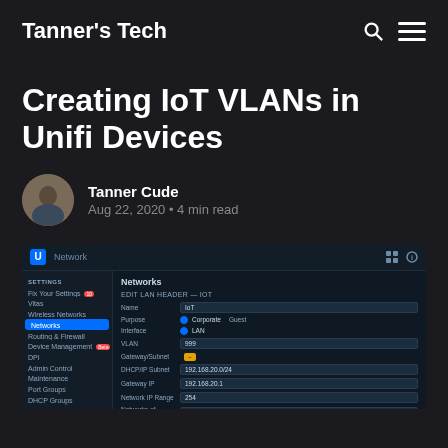Tanner's Tech
Creating IoT VLANs in Unifi Devices
Tanner Cude
Aug 22, 2020 • 4 min read
[Figure (screenshot): Unifi Network settings panel showing Networks configuration with EDIT/LAN HEADER section, fields for Name (IoT), Purpose (Corporate/Local radio options), Interface (LAN), VLAN, Gateway/Subnet, DHCP settings, and router IP addresses]